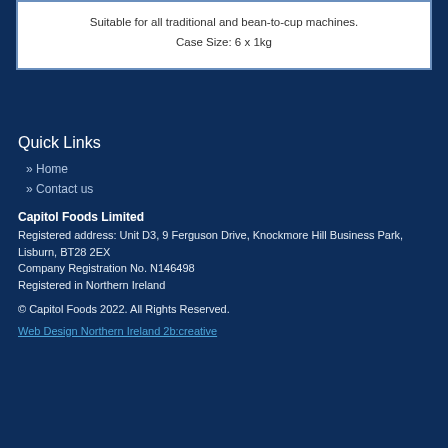Suitable for all traditional and bean-to-cup machines.
Case Size: 6 x 1kg
Quick Links
Home
Contact us
Capitol Foods Limited
Registered address: Unit D3, 9 Ferguson Drive, Knockmore Hill Business Park, Lisburn, BT28 2EX
Company Registration No. N146498
Registered in Northern Ireland
© Capitol Foods 2022. All Rights Reserved.
Web Design Northern Ireland 2b:creative